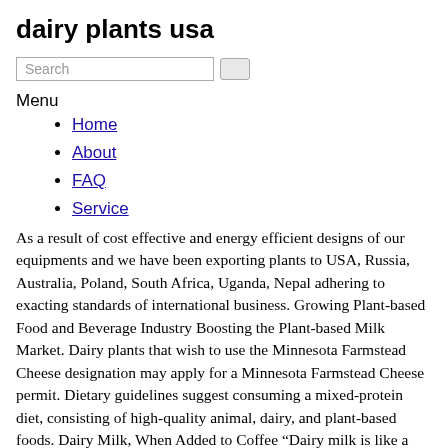dairy plants usa
Home
About
FAQ
Service
As a result of cost effective and energy efficient designs of our equipments and we have been exporting plants to USA, Russia, Australia, Poland, South Africa, Uganda, Nepal adhering to exacting standards of international business. Growing Plant-based Food and Beverage Industry Boosting the Plant-based Milk Market. Dairy plants that wish to use the Minnesota Farmstead Cheese designation may apply for a Minnesota Farmstead Cheese permit. Dietary guidelines suggest consuming a mixed-protein diet, consisting of high-quality animal, dairy, and plant-based foods. Dairy Milk, When Added to Coffee “Dairy milk is like a spin doctor when it comes to coffee,” says Trevethyen, “it smooths out any bitterness.” That natural adeptness at smoothing out the acidity in coffee is down to the structure of dairy milk itself – the main